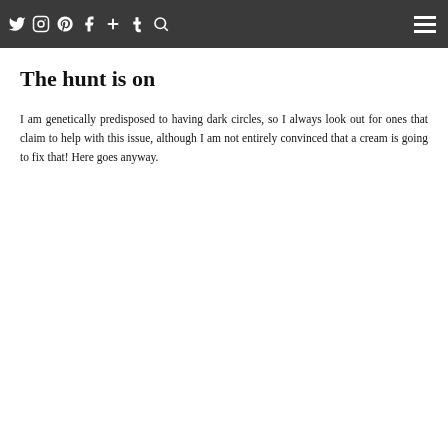Although I am not very adventurous when it comes to eye creams, I feel like I need to perhaps now as I am in my 40s.
The hunt is on
I am genetically predisposed to having dark circles, so I always look out for ones that claim to help with this issue, although I am not entirely convinced that a cream is going to fix that! Here goes anyway.